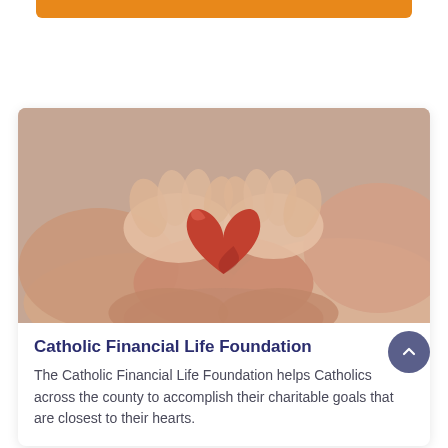[Figure (photo): Hands (adult and child) cradling a red ceramic heart, warm beige/pink tones, charity/care themed photograph]
Catholic Financial Life Foundation
The Catholic Financial Life Foundation helps Catholics across the county to accomplish their charitable goals that are closest to their hearts.